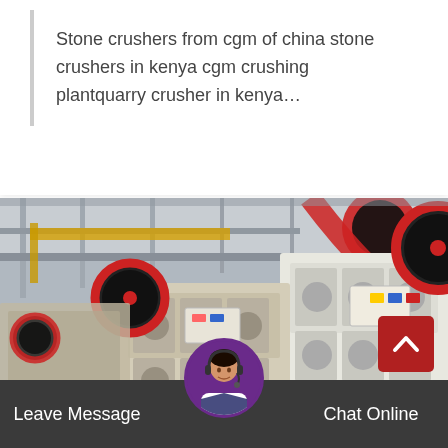Stone crushers from cgm of china stone crushers in kenya cgm crushing plantquarry crusher in kenya…
[Figure (photo): Industrial stone crusher machines in a factory setting, showing large jaw crushers in beige/cream color with red circular flywheels, arranged in a row inside a warehouse.]
Leave Message
Chat Online